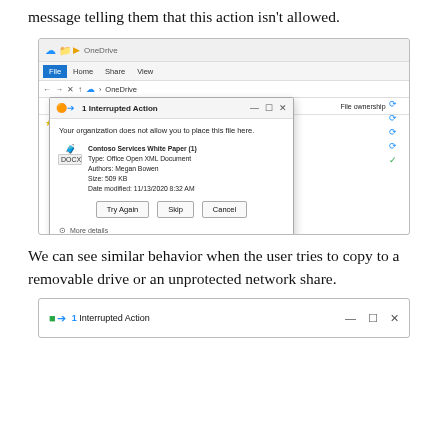message telling them that this action isn't allowed.
[Figure (screenshot): Windows File Explorer showing OneDrive folder with a '1 Interrupted Action' dialog. The dialog reads 'Your organization does not allow you to place this file here.' and shows details for 'Contoso Services White Paper (1)', Type: Office Open XML Document, Authors: Megan Bowen, Size: 509 KB, Date modified: 11/13/2020 8:32 AM. Buttons: Try Again, Skip, Cancel. Status icons visible on the right.]
We can see similar behavior when the user tries to copy to a removable drive or an unprotected network share.
[Figure (screenshot): Partial view of a '1 Interrupted Action' dialog showing the title bar with green and blue arrow icons, minimize, restore, and close controls.]